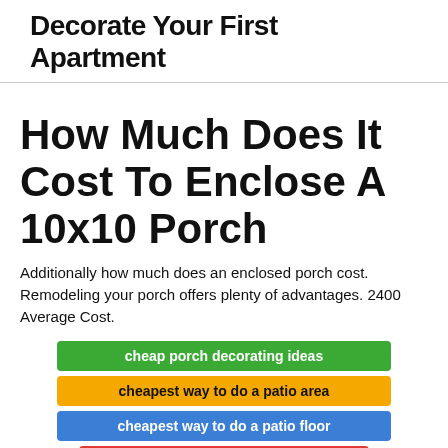Decorate Your First Apartment
How Much Does It Cost To Enclose A 10x10 Porch
Additionally how much does an enclosed porch cost. Remodeling your porch offers plenty of advantages. 2400 Average Cost.
cheap porch decorating ideas
cheapest way to do a patio area
cheapest way to do a patio floor
can i design my own kitchen